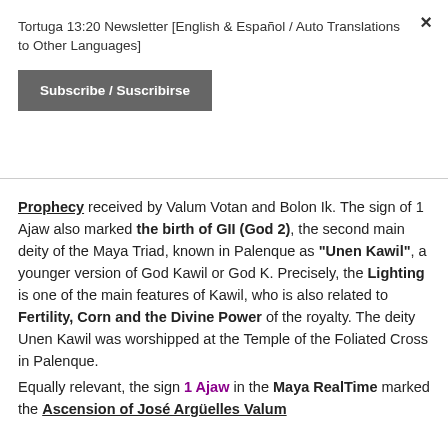Tortuga 13:20 Newsletter [English & Español / Auto Translations to Other Languages]
Subscribe / Suscribirse
Prophecy received by Valum Votan and Bolon Ik. The sign of 1 Ajaw also marked the birth of GII (God 2), the second main deity of the Maya Triad, known in Palenque as "Unen Kawil", a younger version of God Kawil or God K. Precisely, the Lighting is one of the main features of Kawil, who is also related to Fertility, Corn and the Divine Power of the royalty. The deity Unen Kawil was worshipped at the Temple of the Foliated Cross in Palenque. Equally relevant, the sign 1 Ajaw in the Maya RealTime marked the Ascension of José Argüelles Valum